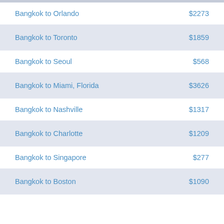Bangkok to Orlando — $2273
Bangkok to Toronto — $1859
Bangkok to Seoul — $568
Bangkok to Miami, Florida — $3626
Bangkok to Nashville — $1317
Bangkok to Charlotte — $1209
Bangkok to Singapore — $277
Bangkok to Boston — $1090